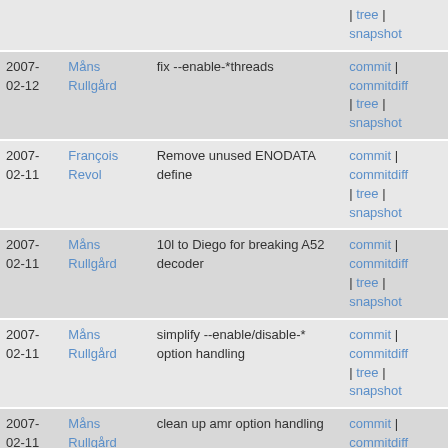| Date | Author | Message | Links |
| --- | --- | --- | --- |
|  |  |  | | tree |
snapshot |
| 2007-
02-12 | Måns Rullgård | fix --enable-*threads | commit |
commitdiff
| tree |
snapshot |
| 2007-
02-11 | François Revol | Remove unused ENODATA define | commit |
commitdiff
| tree |
snapshot |
| 2007-
02-11 | Måns Rullgård | 10l to Diego for breaking A52 decoder | commit |
commitdiff
| tree |
snapshot |
| 2007-
02-11 | Måns Rullgård | simplify --enable/disable-* option handling | commit |
commitdiff
| tree |
snapshot |
| 2007-
02-11 | Måns Rullgård | clean up amr option handling | commit |
commitdiff
| tree |
snapshot |